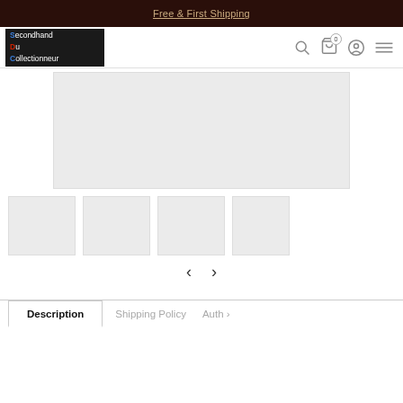Free & First Shipping
[Figure (logo): Secondhand Du Collectionneur logo - white text on black background with colored initials S, D, C]
[Figure (photo): Main product image placeholder - large light gray rectangle]
[Figure (photo): Thumbnail image 1 - gray rectangle]
[Figure (photo): Thumbnail image 2 - gray rectangle]
[Figure (photo): Thumbnail image 3 - gray rectangle]
[Figure (photo): Thumbnail image 4 - partial gray rectangle]
Description
Shipping Policy
Auth